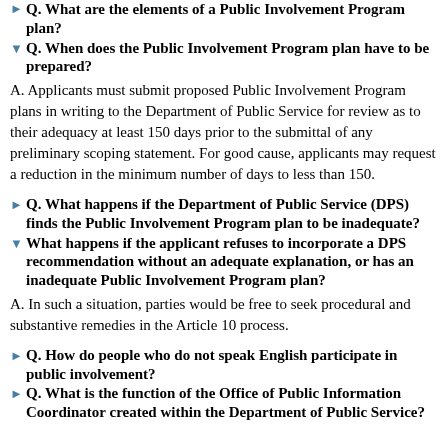Q. What are the elements of a Public Involvement Program plan?
Q. When does the Public Involvement Program plan have to be prepared?
A. Applicants must submit proposed Public Involvement Program plans in writing to the Department of Public Service for review as to their adequacy at least 150 days prior to the submittal of any preliminary scoping statement. For good cause, applicants may request a reduction in the minimum number of days to less than 150.
Q. What happens if the Department of Public Service (DPS) finds the Public Involvement Program plan to be inadequate?
What happens if the applicant refuses to incorporate a DPS recommendation without an adequate explanation, or has an inadequate Public Involvement Program plan?
A. In such a situation, parties would be free to seek procedural and substantive remedies in the Article 10 process.
Q. How do people who do not speak English participate in public involvement?
Q. What is the function of the Office of Public Information Coordinator created within the Department of Public Service?